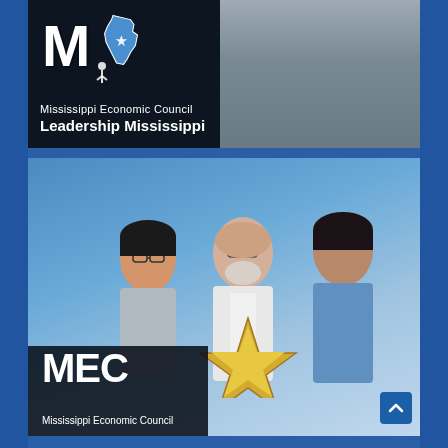[Figure (photo): Mississippi Economic Council Leadership Mississippi card with MEC logo, Mississippi state outline, silhouette of person with arms crossed on dark background. Text reads 'Mississippi Economic Council' and 'Leadership Mississippi' in white.]
[Figure (photo): Mississippi Economic Council promotional image showing three people (woman with glasses, older man in white coat, young man in blue) looking at a gold star award. MEC logo and 'Mississippi Economic Council' text on dark panel at bottom left. Blue background.]